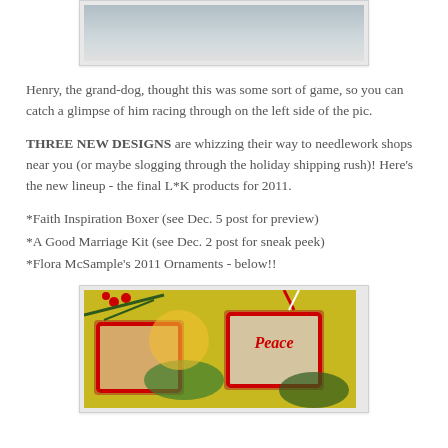[Figure (photo): Top portion of a snowy outdoor photo, cropped at top of page]
Henry, the grand-dog, thought this was some sort of game, so you can catch a glimpse of him racing through on the left side of the pic.
THREE NEW DESIGNS are whizzing their way to needlework shops near you (or maybe slogging through the holiday shipping rush)!  Here's the new lineup - the final L*K products for 2011.
*Faith Inspiration Boxer (see Dec. 5 post for preview)
*A Good Marriage Kit (see Dec. 2 post for sneak peek)
*Flora McSample's 2011 Ornaments - below!!
[Figure (photo): Christmas ornaments with cross-stitch designs featuring 'Peace' text, surrounded by holly berries and pine branches on a Christmas tree]